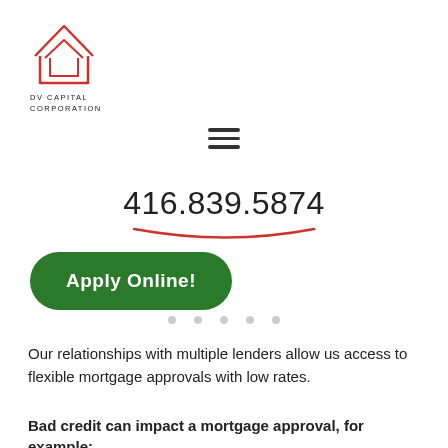[Figure (logo): DV Capital Corporation logo — red outlined house/building icon with text 'DV CAPITAL CORPORATION' below]
[Figure (other): Hamburger menu icon — three horizontal dark lines]
416.839.5874
[Figure (other): Red curved underline beneath phone number]
Apply Online!
Our relationships with multiple lenders allow us access to flexible mortgage approvals with low rates.
Bad credit can impact a mortgage approval, for example: